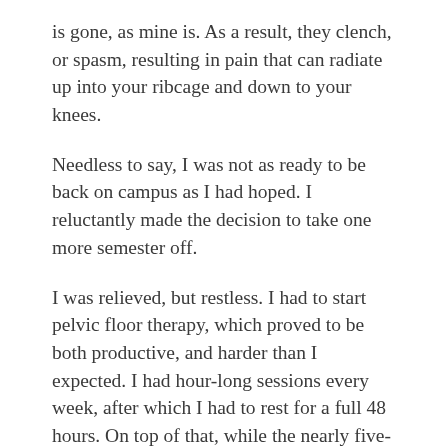is gone, as mine is. As a result, they clench, or spasm, resulting in pain that can radiate up into your ribcage and down to your knees.
Needless to say, I was not as ready to be back on campus as I had hoped. I reluctantly made the decision to take one more semester off.
I was relieved, but restless. I had to start pelvic floor therapy, which proved to be both productive, and harder than I expected. I had hour-long sessions every week, after which I had to rest for a full 48 hours. On top of that, while the nearly five-hour surgery I had last January provided relief from my endometriosis symptoms, my hormone levels struggled to return to normal. In a last-ditch effort to right my system, my doctor prescribed a “medical oopettton”— essentially the